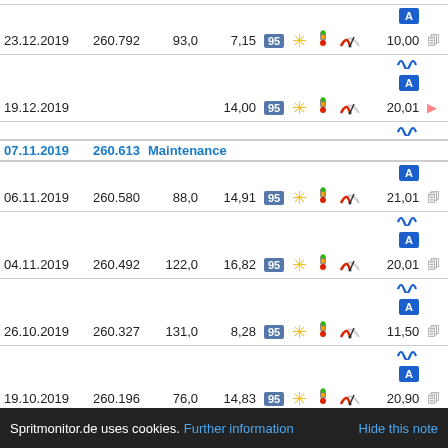| Date | Odometer | Amount | L/100km |  |  |  |  | Price |  |
| --- | --- | --- | --- | --- | --- | --- | --- | --- | --- |
| 23.12.2019 | 260.792 | 93,0 | 7,15 | 95 | ★ | 🚦 | 🔴 | 10,00 |  |
| 19.12.2019 |  |  | 14,00 | 95 | ★ | 🚦 | 🔴 | 20,01 |  |
| 07.11.2019 | 260.613 | Maintenance |  |  |  |  |  |  |  |
| 06.11.2019 | 260.580 | 88,0 | 14,91 | 95 | ★ | 🚦 | 🔴 | 21,01 |  |
| 04.11.2019 | 260.492 | 122,0 | 16,82 | 95 | ★ | 🚦 | 🔴 | 20,01 |  |
| 26.10.2019 | 260.327 | 131,0 | 8,28 | 95 | ★ | 🚦 | 🔴 | 11,50 |  |
| 19.10.2019 | 260.196 | 76,0 | 14,83 | 95 | ★ | 🚦 | 🔴 | 20,90 |  |
Spritmonitor.de uses cookies. Further information   Hide this note